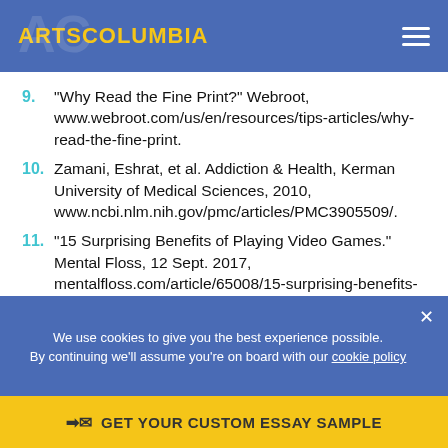ARTSCOLUMBIA
9. "Why Read the Fine Print?" Webroot, www.webroot.com/us/en/resources/tips-articles/why-read-the-fine-print.
10. Zamani, Eshrat, et al. Addiction & Health, Kerman University of Medical Sciences, 2010, www.ncbi.nlm.nih.gov/pmc/articles/PMC3905509/.
11. "15 Surprising Benefits of Playing Video Games." Mental Floss, 12 Sept. 2017, mentalfloss.com/article/65008/15-surprising-benefits-playing-video-games.
We use cookies to give you the best experience possible. By continuing we'll assume you're on board with our cookie policy
GET YOUR CUSTOM ESSAY SAMPLE